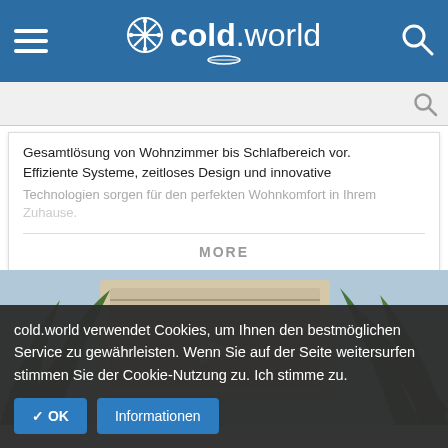cold.world
Gesamtlösung von Wohnzimmer bis Schlafbereich vor. Effiziente Systeme, zeitloses Design und innovative Technologien sorgen für den perfekten Wohnkomfort in Ihrem Zuhause.
MORE
[Figure (photo): Outdoor air conditioning unit seen through green plant leaves]
cold.world verwendet Cookies, um Ihnen den bestmöglichen Service zu gewährleisten. Wenn Sie auf der Seite weitersurfen stimmen Sie der Cookie-Nutzung zu. Ich stimme zu.